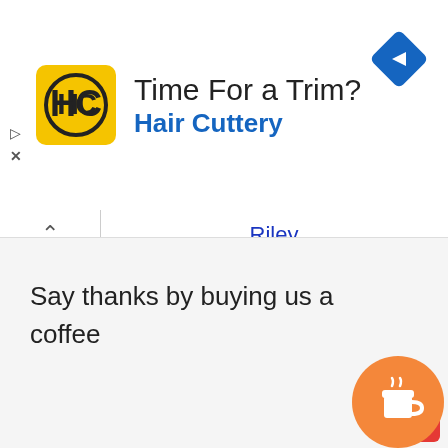[Figure (illustration): Hair Cuttery advertisement banner with yellow logo, 'Time For a Trim?' headline, blue 'Hair Cuttery' subtext, and blue diamond navigation icon.]
Riley
Rolls Royce
Rover
S
Saab
Seat
Singer
Skoda
Smart
Ssangyong
Say thanks by buying us a coffee